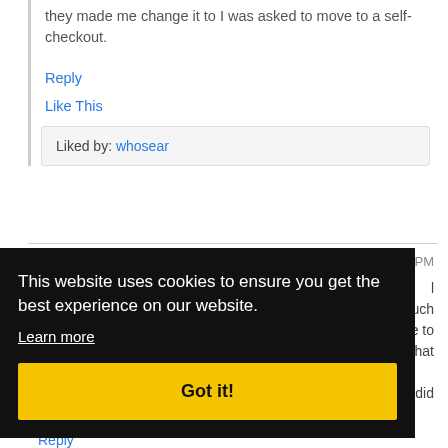they made me change it to I was asked to move to a self-checkout.
Reply
Like This
Liked by: whosear
48PM
. Such e to vhat y did
Reply
This website uses cookies to ensure you get the best experience on our website.
Learn more
Got it!